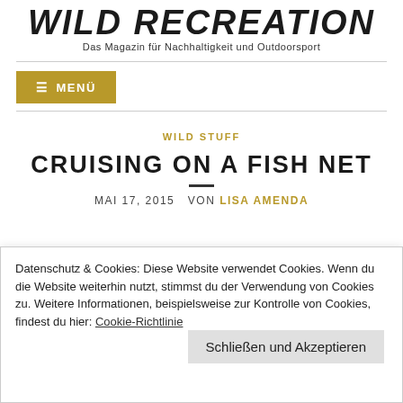WILD RECREATION
Das Magazin für Nachhaltigkeit und Outdoorsport
≡ MENÜ
WILD STUFF
CRUISING ON A FISH NET
MAI 17, 2015 VON LISA AMENDA
Datenschutz & Cookies: Diese Website verwendet Cookies. Wenn du die Website weiterhin nutzt, stimmst du der Verwendung von Cookies zu. Weitere Informationen, beispielsweise zur Kontrolle von Cookies, findest du hier: Cookie-Richtlinie
Schließen und Akzeptieren